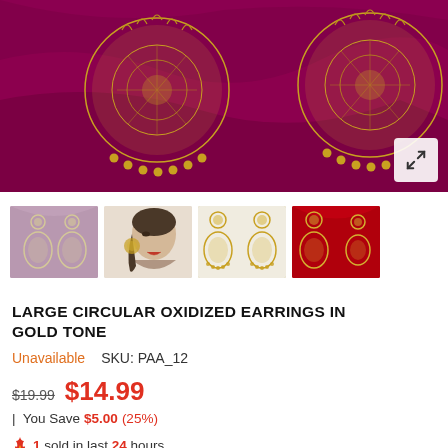[Figure (photo): Main product image: large gold circular oxidized earrings on purple/magenta silk fabric background, with expand icon button in bottom right corner]
[Figure (photo): Four thumbnail images: (1) earrings on pink background, (2) woman model wearing earrings side profile, (3) pair of gold earrings on white background, (4) earrings on red silk background]
LARGE CIRCULAR OXIDIZED EARRINGS IN GOLD TONE
Unavailable   SKU: PAA_12
$19.99  $14.99
| You Save $5.00 (25%)
1 sold in last 24 hours